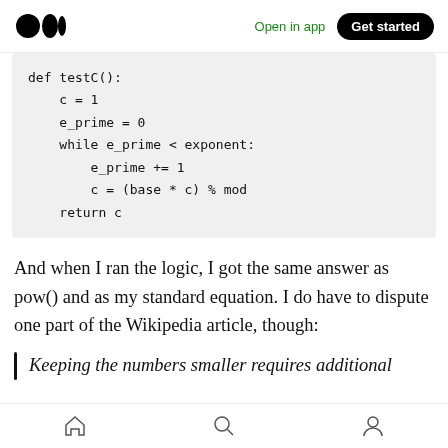Open in app | Get started
def testC():
    c = 1
    e_prime = 0
    while e_prime < exponent:
        e_prime += 1
        c = (base * c) % mod
    return c
And when I ran the logic, I got the same answer as pow() and as my standard equation. I do have to dispute one part of the Wikipedia article, though:
Keeping the numbers smaller requires additional